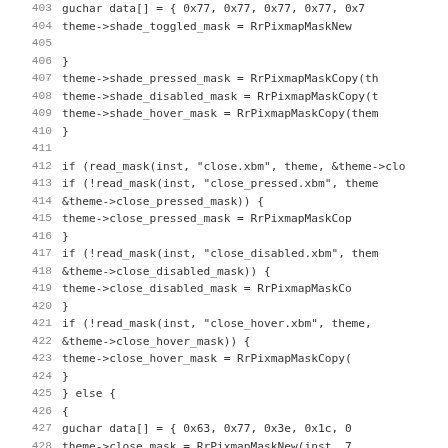Source code listing, lines 403-435, C code for reading theme mask files and creating pixmap masks.